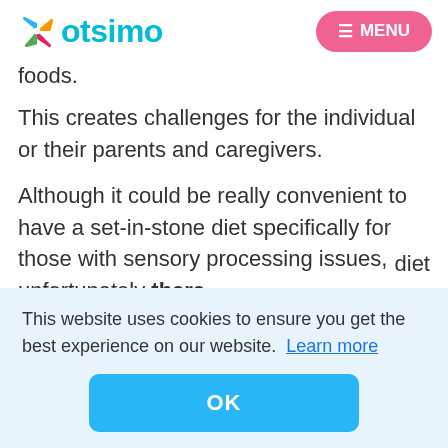otsimo   ☰ MENU
foods.
This creates challenges for the individual or their parents and caregivers.
Although it could be really convenient to have a set-in-stone diet specifically for those with sensory processing issues, unfortunately there
diet
This website uses cookies to ensure you get the best experience on our website.  Learn more
OK